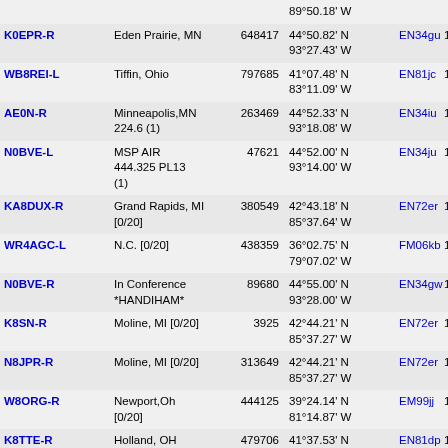| Callsign | Location | ID | Coordinates | Grid | Dist | Freq |
| --- | --- | --- | --- | --- | --- | --- |
|  |  |  | 89°50.18' W |  |  |  |
| K0EPR-R | Eden Prairie, MN | 648417 | 44°50.82' N 93°27.43' W | EN34gu | 1034.7 | 146.8 |
| WB8REI-L | Tiffin, Ohio | 797685 | 41°07.48' N 83°11.09' W | EN81jc | 1036.0 | 146.4 |
| AE0N-R | Minneapolis,MN 224.6 (1) | 263469 | 44°52.33' N 93°18.08' W | EN34iu | 1037.3 | 224.6 |
| N0BVE-L | MSP AIR 444.325 PL13 (1) | 47621 | 44°52.00' N 93°14.00' W | EN34ju | 1037.4 | 444.3 |
| KA8DUX-R | Grand Rapids, MI [0/20] | 380549 | 42°43.18' N 85°37.64' W | EN72er | 1038.3 |  |
| WR4AGC-L | N.C. [0/20] | 438359 | 36°02.75' N 79°07.02' W | FM06kb | 1039.2 |  |
| N0BVE-R | In Conference *HANDIHAM* | 89680 | 44°55.00' N 93°28.00' W | EN34gw | 1039.4 | 145.4 |
| K8SN-R | Moline, MI [0/20] | 3925 | 42°44.21' N 85°37.27' W | EN72er | 1039.5 |  |
| N8JPR-R | Moline, MI [0/20] | 313649 | 42°44.21' N 85°37.27' W | EN72er | 1039.5 |  |
| W8ORG-R | Newport,Oh [0/20] | 444125 | 39°24.14' N 81°14.87' W | EM99jj | 1039.7 |  |
| K8TTE-R | Holland, OH USA | 479706 | 41°37.53' N 83°44.59' W | EN81dp | 1040.5 | 444.2 |
| W8IRA-R | Grand Rapids, [0/20] | 974494 | 42°47.77' N 85°38.97' W | EN72et | 1042.0 | 147.1 |